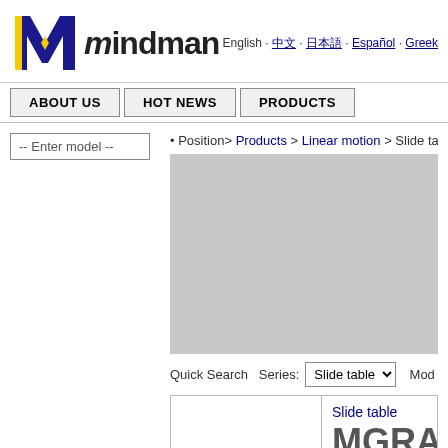[Figure (logo): Mindman company logo with stylized blue and yellow M graphic and 'mindman' text]
English · 中文 · 日本語 · Español · Greek
ABOUT US   HOT NEWS   PRODUCTS
-- Enter model --
• Position> Products > Linear motion > Slide table
[Figure (photo): Gray placeholder image area for product photo]
Quick Search  Series: Slide table ▼  Mod
Slide table
MGRA
MGRA : Screw lock,
MGRA-N : Antirust,